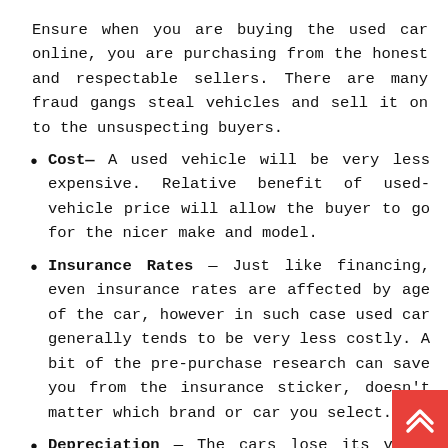Ensure when you are buying the used car online, you are purchasing from the honest and respectable sellers. There are many fraud gangs steal vehicles and sell it on to the unsuspecting buyers.
Cost— A used vehicle will be very less expensive. Relative benefit of used-vehicle price will allow the buyer to go for the nicer make and model.
Insurance Rates — Just like financing, even insurance rates are affected by age of the car, however in such case used car generally tends to be very less costly. A bit of the pre-purchase research can save you from the insurance sticker, doesn't matter which brand or car you select.
Depreciation — The cars lose its value with every passing month, but steepest decline generally happens immediately; many car models will lose 40%